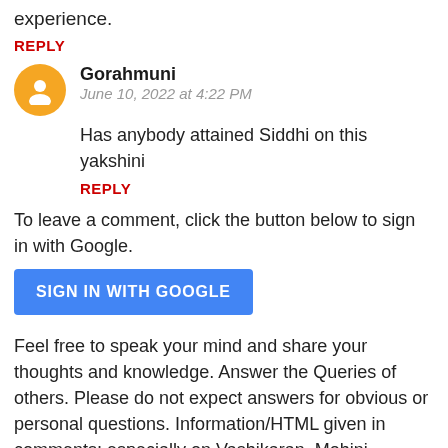experience.
REPLY
Gorahmuni  June 10, 2022 at 4:22 PM
Has anybody attained Siddhi on this yakshini
REPLY
To leave a comment, click the button below to sign in with Google.
[Figure (other): Blue 'SIGN IN WITH GOOGLE' button]
Feel free to speak your mind and share your thoughts and knowledge. Answer the Queries of others. Please do not expect answers for obvious or personal questions. Information/HTML given in comments; especially on Vashikaran, Mohini, Yakshinis